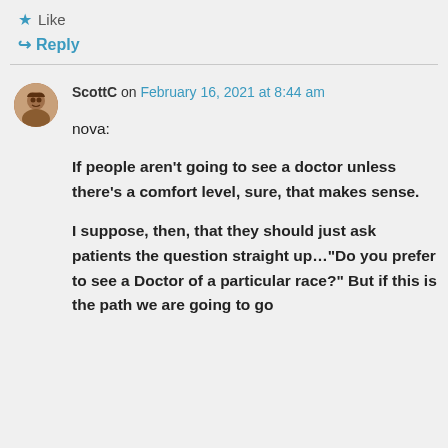★ Like
↪ Reply
ScottC on February 16, 2021 at 8:44 am
nova:

If people aren't going to see a doctor unless there's a comfort level, sure, that makes sense.

I suppose, then, that they should just ask patients the question straight up…"Do you prefer to see a Doctor of a particular race?" But if this is the path we are going to go